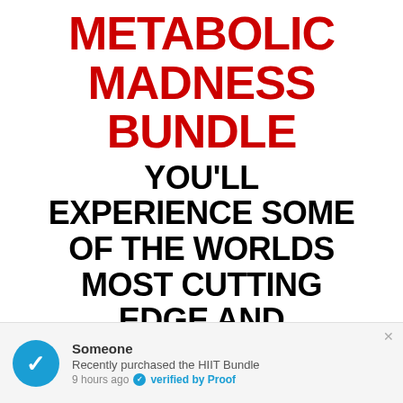METABOLIC MADNESS BUNDLE
YOU'LL EXPERIENCE SOME OF THE WORLDS MOST CUTTING EDGE AND INNOVATIVE
Someone
Recently purchased the HIIT Bundle
9 hours ago  verified by Proof